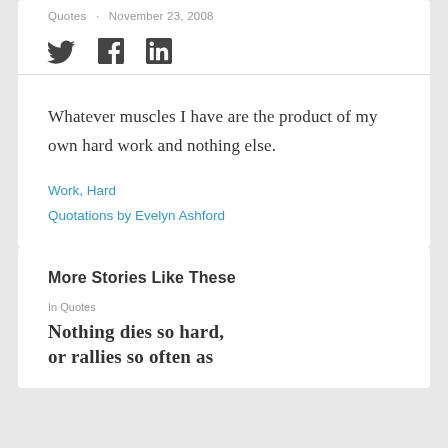Quotes · November 23, 2008
[Figure (illustration): Social media sharing icons: Twitter bird, Facebook F, LinkedIn in]
Whatever muscles I have are the product of my own hard work and nothing else.
Work, Hard
Quotations by Evelyn Ashford
More Stories Like These
In Quotes
Nothing dies so hard, or rallies so often as